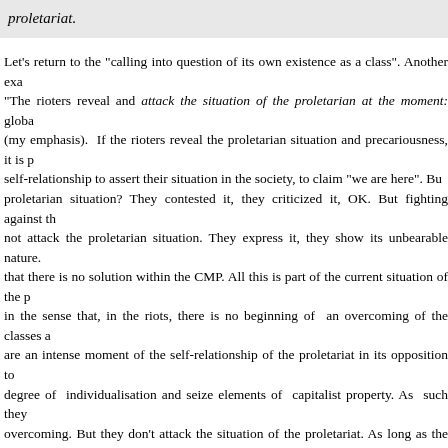proletariat.
Let's return to the “calling into question of its own existence as a class”. Another exa… “The rioters reveal and attack the situation of the proletarian at the moment: globa… (my emphasis). If the rioters reveal the proletarian situation and precariousness, it is p… self-relationship to assert their situation in the society, to claim “we are here”. Bu… proletarian situation? They contested it, they criticized it, OK. But fighting against th… not attack the proletarian situation. They express it, they show its unbearable nature.… that there is no solution within the CMP. All this is part of the current situation of the p… in the sense that, in the riots, there is no beginning of an overcoming of the classes a… are an intense moment of the self-relationship of the proletariat in its opposition to… degree of individualisation and seize elements of capitalist property. As such they… overcoming. But they don’t attack the situation of the proletariat. As long as the first… are not taken, the existence of the class in not put into question.
This being said, it seems that TC and I are not so far apart in the understanding of thes… I call anti-work (anti-proletariat), they call swerve. What I call possibility of com… possible to understand it that way?) the calling into question of the proletariat as a… than likely that TC will develop a whole series of arguments to prove that I don’t un… belong to the “old cycle of struggles”. No problem: I don’t wish to discuss with them… why later.